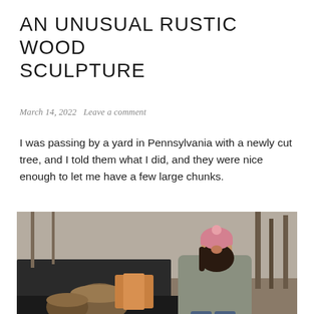AN UNUSUAL RUSTIC WOOD SCULPTURE
March 14, 2022   Leave a comment
I was passing by a yard in Pennsylvania with a newly cut tree, and I told them what I did, and they were nice enough to let me have a few large chunks.
[Figure (photo): A woman wearing a pink knit beanie hat and grey jacket standing next to a pickup truck bed loaded with large wood logs, in a wooded outdoor setting.]